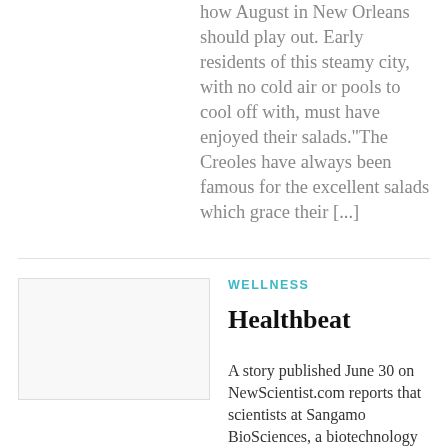how August in New Orleans should play out. Early residents of this steamy city, with no cold air or pools to cool off with, must have enjoyed their salads."The Creoles have always been famous for the excellent salads which grace their [...]
[Figure (photo): Thumbnail image placeholder for Healthbeat article]
WELLNESS
Healthbeat
A story published June 30 on NewScientist.com reports that scientists at Sangamo BioSciences, a biotechnology company in Duarte, Calif., have made a remarkable leap forward with AIDS/HIV research, having successfully created HIV-